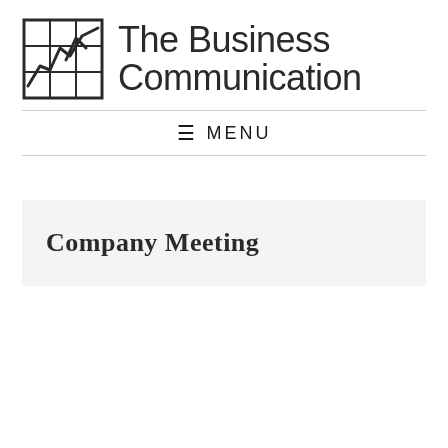[Figure (logo): The Business Communication logo — a square grid icon with a line chart inside, followed by the text 'The Business Communication' in a sans-serif font.]
MENU
Company Meeting